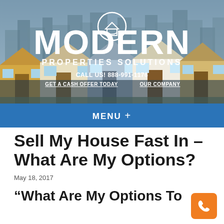[Figure (logo): Modern Properties Solutions logo with house and handshake icon, white text on illustrated city/houses background]
CALL US! 888-991-1176
GET A CASH OFFER TODAY   OUR COMPANY
MENU +
Sell My House Fast In – What Are My Options?
May 18, 2017
“What Are My Options To